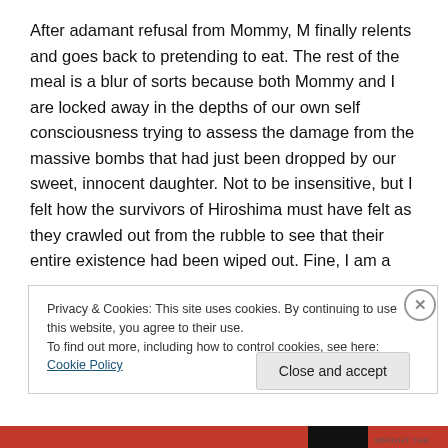After adamant refusal from Mommy, M finally relents and goes back to pretending to eat.  The rest of the meal is a blur of sorts because both Mommy and I are locked away in the depths of our own self consciousness trying to assess the damage from the massive bombs that had just been dropped by our sweet, innocent daughter.  Not to be insensitive, but I felt how the survivors of Hiroshima must have felt as they crawled out from the rubble to see that their entire existence had been wiped out.  Fine, I am a
Privacy & Cookies: This site uses cookies. By continuing to use this website, you agree to their use.
To find out more, including how to control cookies, see here: Cookie Policy